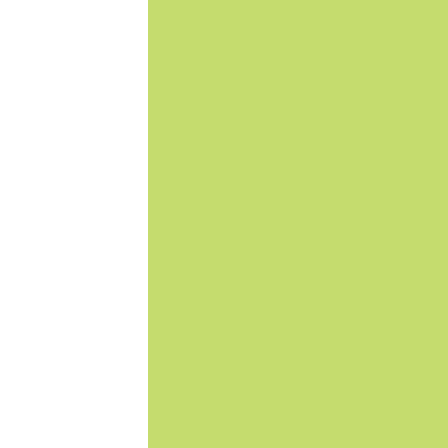[Figure (illustration): Green/lime colored rectangular box filling the center-left portion of the page]
Ave, Miami, FL 33136. Phone: (305) 329-3000 www.cphi.or
Florida Coalition Against Domestic Violence
This is a grassroots non-profit organization whose membership is comprised of individuals, shelters and advocacy
[Figure (logo): Google Translate button with G logo and Translate link]